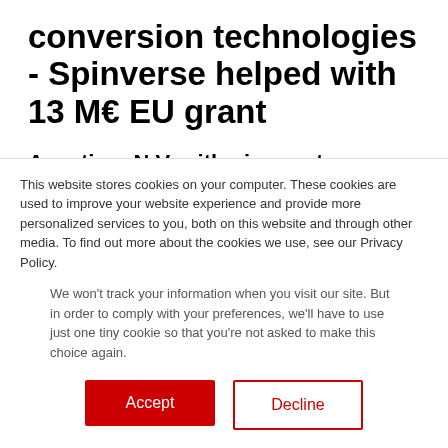conversion technologies - Spinverse helped with 13 M€ EU grant
Avantium N.V. with nine partners across Europe were awarded with a € 13 million grant from Horizon2020's SPIRE programme. The project will integrate and scale up Avantium's
This website stores cookies on your computer. These cookies are used to improve your website experience and provide more personalized services to you, both on this website and through other media. To find out more about the cookies we use, see our Privacy Policy.
We won't track your information when you visit our site. But in order to comply with your preferences, we'll have to use just one tiny cookie so that you're not asked to make this choice again.
Accept
Decline